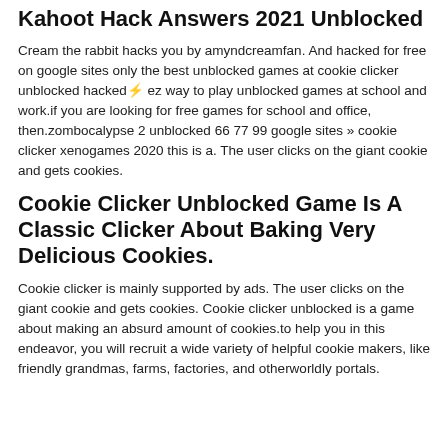Kahoot Hack Answers 2021 Unblocked
Cream the rabbit hacks you by amyndcreamfan. And hacked for free on google sites only the best unblocked games at cookie clicker unblocked hacked⚡ ez way to play unblocked games at school and work.if you are looking for free games for school and office, then.zombocalypse 2 unblocked 66 77 99 google sites » cookie clicker xenogames 2020 this is a. The user clicks on the giant cookie and gets cookies.
Cookie Clicker Unblocked Game Is A Classic Clicker About Baking Very Delicious Cookies.
Cookie clicker is mainly supported by ads. The user clicks on the giant cookie and gets cookies. Cookie clicker unblocked is a game about making an absurd amount of cookies.to help you in this endeavor, you will recruit a wide variety of helpful cookie makers, like friendly grandmas, farms, factories, and otherworldly portals.